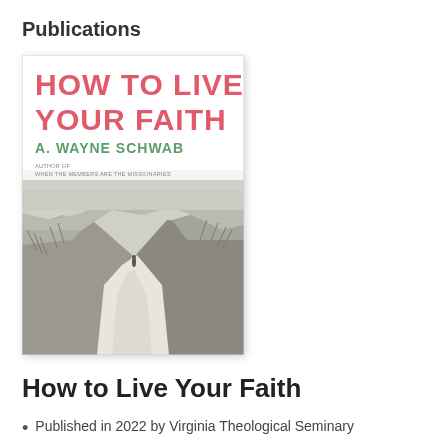Publications
[Figure (photo): Book cover of 'How to Live Your Faith' by A. Wayne Schwab. Title in bold red text, author name in green text, with subtitle 'Author of When the Members Are the Missionaries'. Background is a black and white photograph of a sandy path between dunes with a lone figure in the distance.]
How to Live Your Faith
Published in 2022 by Virginia Theological Seminary